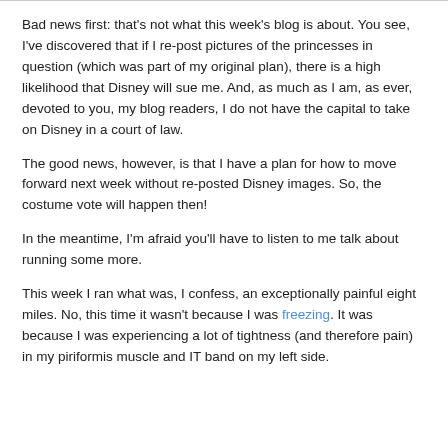Bad news first: that's not what this week's blog is about. You see, I've discovered that if I re-post pictures of the princesses in question (which was part of my original plan), there is a high likelihood that Disney will sue me. And, as much as I am, as ever, devoted to you, my blog readers, I do not have the capital to take on Disney in a court of law.
The good news, however, is that I have a plan for how to move forward next week without re-posted Disney images. So, the costume vote will happen then!
In the meantime, I'm afraid you'll have to listen to me talk about running some more.
This week I ran what was, I confess, an exceptionally painful eight miles. No, this time it wasn't because I was freezing. It was because I was experiencing a lot of tightness (and therefore pain) in my piriformis muscle and IT band on my left side.